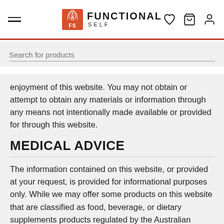FUNCTIONAL SELF
enjoyment of this website. You may not obtain or attempt to obtain any materials or information through any means not intentionally made available or provided for through this website.
MEDICAL ADVICE
The information contained on this website, or provided at your request, is provided for informational purposes only. While we may offer some products on this website that are classified as food, beverage, or dietary supplements products regulated by the Australian Therapeutic Goods Administration, US Food and Drug Administration, UK